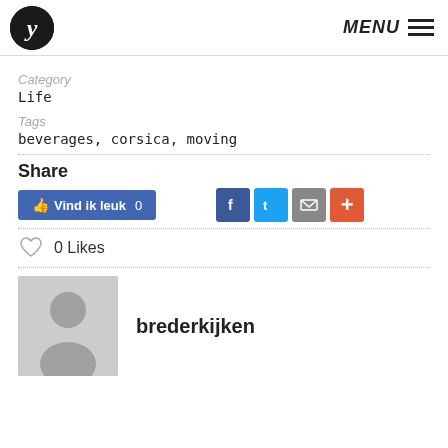MENU
Category
Life
Tags
beverages, corsica, moving
Share
[Figure (infographic): Social share buttons: Facebook like button (Vind ik leuk 0), Facebook, Twitter, email, and plus icons]
0 Likes
brederkijken